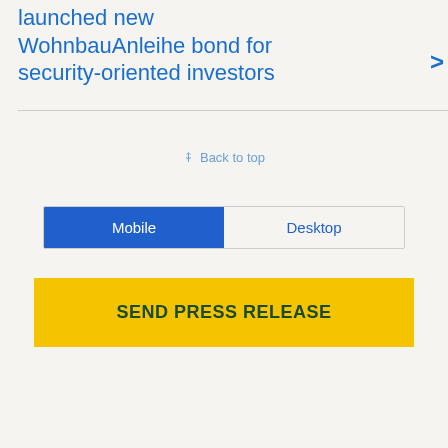launched new WohnbauAnleihe bond for security-oriented investors
Back to top
[Figure (screenshot): Toggle button group with Mobile (selected, blue background) and Desktop (unselected, light background) options]
SEND PRESS RELEASE